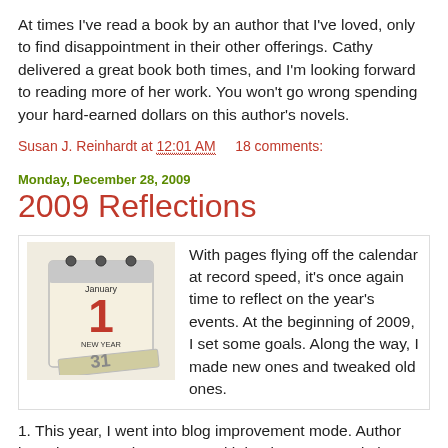At times I've read a book by an author that I've loved, only to find disappointment in their other offerings. Cathy delivered a great book both times, and I'm looking forward to reading more of her work. You won't go wrong spending your hard-earned dollars on this author's novels.
Susan J. Reinhardt at 12:01 AM    18 comments:
Monday, December 28, 2009
2009 Reflections
[Figure (illustration): A calendar image showing January 1 New Year page]
With pages flying off the calendar at record speed, it's once again time to reflect on the year's events. At the beginning of 2009, I set some goals. Along the way, I made new ones and tweaked old ones.
1. This year, I went into blog improvement mode. Author interviews now share space with book recommendations on Wednesdays. I'm following more blogs to bring you the best